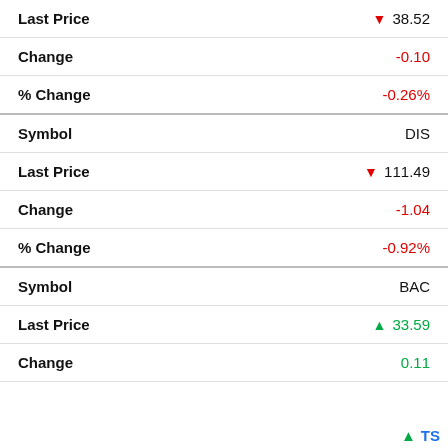| Field | Value |
| --- | --- |
| Last Price | ▼ 38.52 |
| Change | -0.10 |
| % Change | -0.26% |
| Symbol | DIS |
| Last Price | ▼ 111.49 |
| Change | -1.04 |
| % Change | -0.92% |
| Symbol | BAC |
| Last Price | ▲ 33.59 |
| Change | 0.11 |
▲ TS